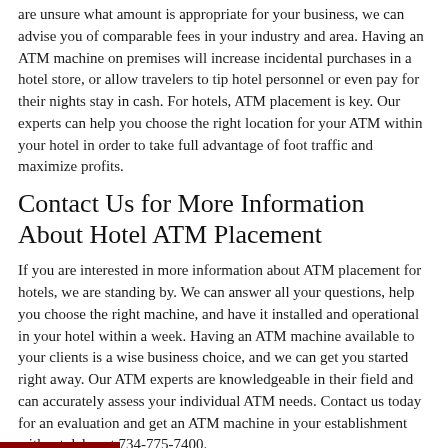are unsure what amount is appropriate for your business, we can advise you of comparable fees in your industry and area. Having an ATM machine on premises will increase incidental purchases in a hotel store, or allow travelers to tip hotel personnel or even pay for their nights stay in cash. For hotels, ATM placement is key. Our experts can help you choose the right location for your ATM within your hotel in order to take full advantage of foot traffic and maximize profits.
Contact Us for More Information About Hotel ATM Placement
If you are interested in more information about ATM placement for hotels, we are standing by. We can answer all your questions, help you choose the right machine, and have it installed and operational in your hotel within a week. Having an ATM machine available to your clients is a wise business choice, and we can get you started right away. Our ATM experts are knowledgeable in their field and can accurately assess your individual ATM needs. Contact us today for an evaluation and get an ATM machine in your establishment without delay at 734-775-7400.